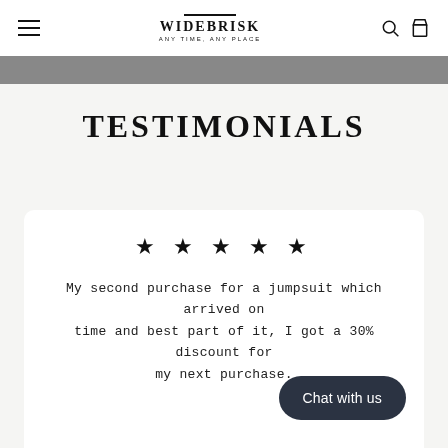WIDEBRISK — ANY TIME, ANY PLACE
TESTIMONIALS
★ ★ ★ ★ ★
My second purchase for a jumpsuit which arrived on time and best part of it, I got a 30% discount for my next purchase.
Chat with us